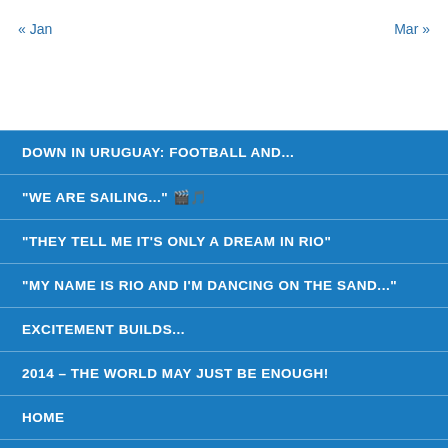« Jan    Mar »
DOWN IN URUGUAY: FOOTBALL AND...
"WE ARE SAILING..." 🎵
"THEY TELL ME IT'S ONLY A DREAM IN RIO"
"MY NAME IS RIO AND I'M DANCING ON THE SAND..."
EXCITEMENT BUILDS...
2014 – THE WORLD MAY JUST BE ENOUGH!
HOME
PHOTOGRAPHS OF THE JOURNEY SO FAR...